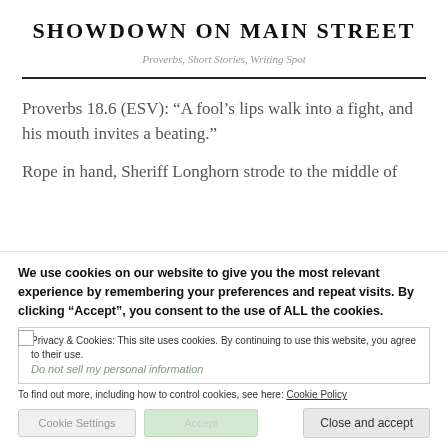SHOWDOWN ON MAIN STREET
Proverbs, Short Stories, Writing Spot
Proverbs 18.6 (ESV): “A fool’s lips walk into a fight, and his mouth invites a beating.”
Rope in hand, Sheriff Longhorn strode to the middle of
We use cookies on our website to give you the most relevant experience by remembering your preferences and repeat visits. By clicking “Accept”, you consent to the use of ALL the cookies.
Privacy & Cookies: This site uses cookies. By continuing to use this website, you agree to their use.
Do not sell my personal information
To find out more, including how to control cookies, see here: Cookie Policy
Cookie Settings
Accept
Close and accept